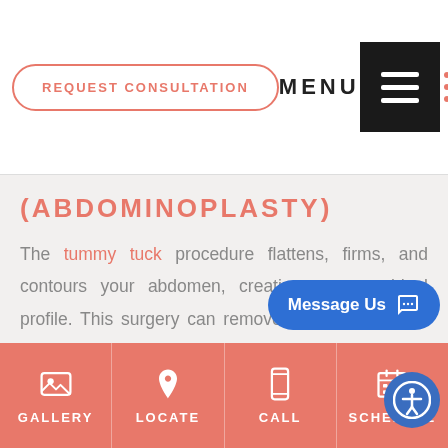[Figure (screenshot): Request Consultation button and MENU hamburger icon in the page header]
(ABDOMINOPLASTY)
The tummy tuck procedure flattens, firms, and contours your abdomen, creating a more ideal profile. This surgery can remove excess skin and fat while tightening the abdominal muscles. There are different variations of the tummy tuck, or abdominoplasty, such as an endoscopic abdominoplasty, a mini abdominoplasty, a modified abdominoplasty. The type of
GALLERY | LOCATE | CALL | SCHEDULE